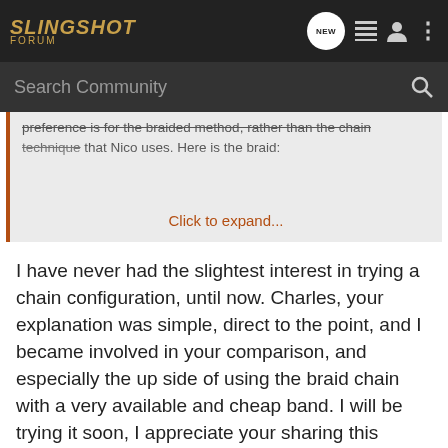SLINGSHOT FORUM
Search Community
preference is for the braided method, rather than the chain technique that Nico uses. Here is the braid:
Click to expand...
I have never had the slightest interest in trying a chain configuration, until now. Charles, your explanation was simple, direct to the point, and I became involved in your comparison, and especially the up side of using the braid chain with a very available and cheap band. I will be trying it soon, I appreciate your sharing this information, thanks.
Al
[Figure (other): Bass Pro Shops Hunting Clearance Bargain Cave advertisement banner with Shop Now button]